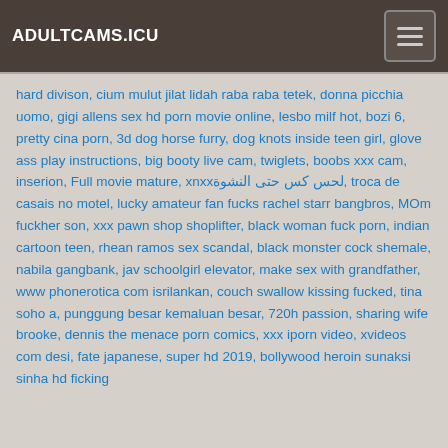ADULTCAMS.ICU
hard divison, cium mulut jilat lidah raba raba tetek, donna picchia uomo, gigi allens sex hd porn movie online, lesbo milf hot, bozi 6, pretty cina porn, 3d dog horse furry, dog knots inside teen girl, glove ass play instructions, big booty live cam, twiglets, boobs xxx cam, inserion, Full movie mature, xnxxلحس كس حتى النشوة, troca de casais no motel, lucky amateur fan fucks rachel starr bangbros, MOm fuckher son, xxx pawn shop shoplifter, black woman fuck porn, indian cartoon teen, rhean ramos sex scandal, black monster cock shemale, nabila gangbank, jav schoolgirl elevator, make sex with grandfather, www phonerotica com isrilankan, couch swallow kissing fucked, tina soho a, punggung besar kemaluan besar, 720h passion, sharing wife brooke, dennis the menace porn comics, xxx iporn video, xvideos com desi, fate japanese, super hd 2019, bollywood heroin sunaksi sinha hd ficking